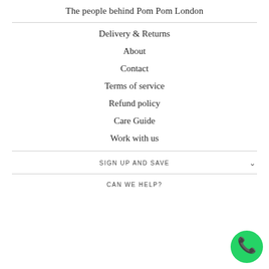The people behind Pom Pom London
Delivery & Returns
About
Contact
Terms of service
Refund policy
Care Guide
Work with us
SIGN UP AND SAVE
CAN WE HELP?
[Figure (illustration): Green WhatsApp floating button with phone icon in bottom right corner]